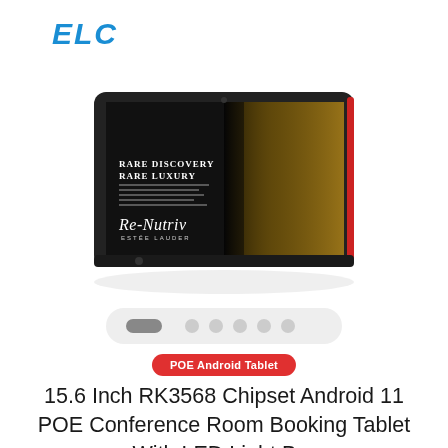[Figure (logo): ELC brand logo in blue italic bold text]
[Figure (photo): A 15.6 inch Android tablet shown in perspective view displaying a Re-Nutriv Estee Lauder luxury cosmetics advertisement on its screen. The tablet has a dark/black frame with a red accent bar on the right side.]
[Figure (other): Carousel navigation dots: one active wide pill-shaped dot followed by five circular dots, on a rounded gray background strip]
POE Android Tablet
15.6 Inch RK3568 Chipset Android 11 POE Conference Room Booking Tablet With LED Light Bar